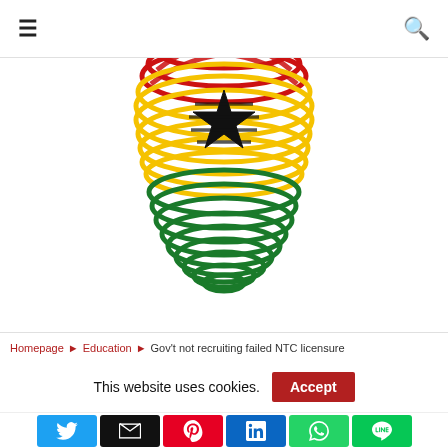≡  [Logo: Ghana fingerprint] 🔍
[Figure (illustration): Ghana flag fingerprint logo — a thumbprint made of red, gold/yellow, and green concentric lines with a black star in the center]
Homepage ▶ Education ▶ Gov't not recruiting failed NTC licensure
This website uses cookies.  [Accept]
Social share buttons: Twitter, Email, Pinterest, LinkedIn, WhatsApp, LINE